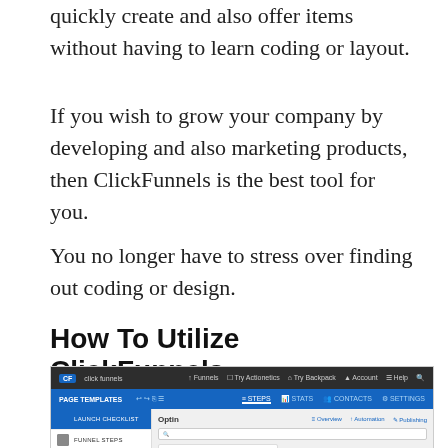quickly create and also offer items without having to learn coding or layout.
If you wish to grow your company by developing and also marketing products, then ClickFunnels is the best tool for you.
You no longer have to stress over finding out coding or design.
How To Utilize ClickFunnels
[Figure (screenshot): Screenshot of the ClickFunnels web application interface showing page templates, funnel steps, and a split test area.]